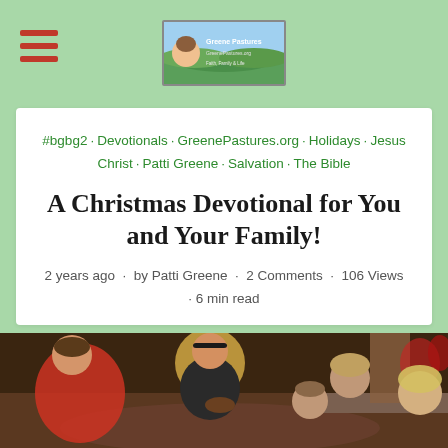[Figure (logo): GreenePastures.org website header logo with photo of author]
#bgbg2 · Devotionals · GreenePastures.org · Holidays · Jesus Christ · Patti Greene · Salvation · The Bible
A Christmas Devotional for You and Your Family!
2 years ago · by Patti Greene · 2 Comments · 106 Views · 6 min read
[Figure (photo): Children sitting in a circle on the floor near a fireplace and Christmas decorations, engaged in reading or activity together]